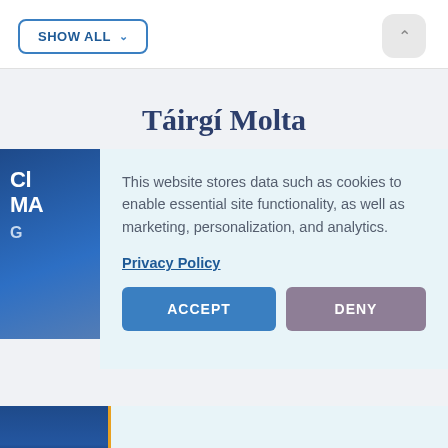[Figure (screenshot): SHOW ALL dropdown button with blue border and downward chevron, and a scroll-to-top button (upward chevron) in gray rounded square on the right]
Táirgí Molta
[Figure (screenshot): Cookie consent popup overlay on a page section showing partial blue book/product cover with text 'CL MA G'. The popup has light blue background with cookie notice text, Privacy Policy link, ACCEPT and DENY buttons.]
This website stores data such as cookies to enable essential site functionality, as well as marketing, personalization, and analytics.
Privacy Policy
ACCEPT
DENY